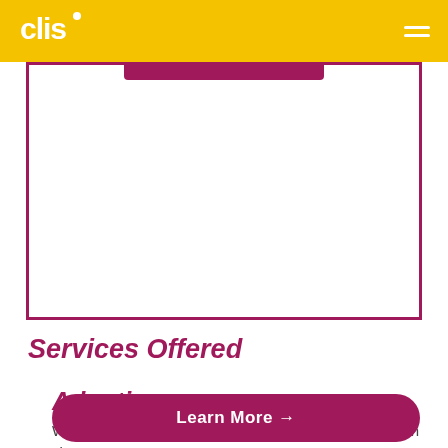clis [logo] [hamburger menu]
[Figure (other): Purple/magenta bordered card box with a filled purple button at the top center, partially visible from previous section]
Services Offered
Adoption
We've been bringing families together through adoption since 1902.
Learn More →